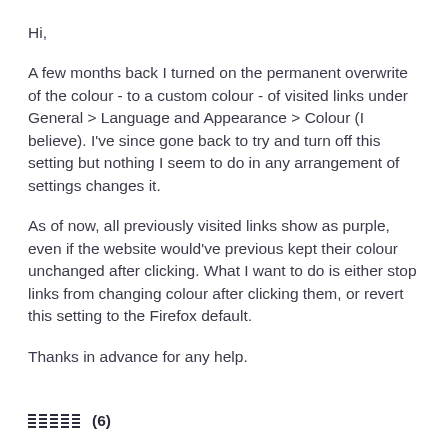Hi,
A few months back I turned on the permanent overwrite of the colour - to a custom colour - of visited links under General > Language and Appearance > Colour (I believe). I've since gone back to try and turn off this setting but nothing I seem to do in any arrangement of settings changes it.
As of now, all previously visited links show as purple, even if the website would've previous kept their colour unchanged after clicking. What I want to do is either stop links from changing colour after clicking them, or revert this setting to the Firefox default.
Thanks in advance for any help.
(6)